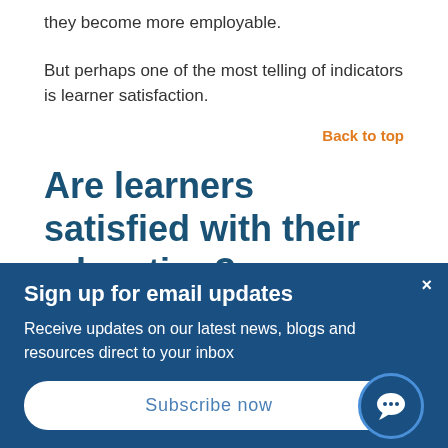they become more employable.
But perhaps one of the most telling of indicators is learner satisfaction.
Back to top
Are learners satisfied with their education?
This could be a starting point...
Sign up for email updates
Receive updates on our latest news, blogs and resources direct to your inbox
Subscribe now